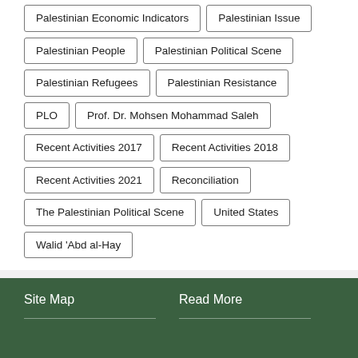Palestinian Economic Indicators
Palestinian Issue
Palestinian People
Palestinian Political Scene
Palestinian Refugees
Palestinian Resistance
PLO
Prof. Dr. Mohsen Mohammad Saleh
Recent Activities 2017
Recent Activities 2018
Recent Activities 2021
Reconciliation
The Palestinian Political Scene
United States
Walid 'Abd al-Hay
Site Map   Read More